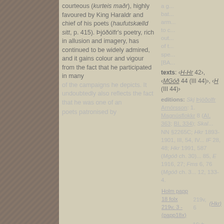courteous (kurteis maðr), highly favoured by King Haraldr and chief of his poets (haufutskælld sitt, p. 415). Þjóðólfr's poetry, rich in allusion and imagery, has continued to be widely admired, and it gains colour and vigour from the fact that he participated in many of the campaigns he depicts. It undoubtedly also reflects the fact that he was one of an
a g... bat... arm... to c... out... of t... spe... [BA...
texts: ‹H-Hr 42›, ‹MGóð 44 (III 44)›, ‹H... (III 44)›
editions: Skj Þjóðolfr Arnórsson: 1. Magnúsflokkr 8 (AI, 363; BI, 334); Skal... NN §2265C; Hkr 1893-1901, III, 54, IV... IF 28, 48; Hkr 1991, 587 (Mgóð ch. 30... 85, E 1916, 27; Fms 6, 76 (Mgóð ch. 3... 12, 133-4.
Cookies on our website
We use cookies on this website, mainly to provide a secure browsing experience but also to collect statistics on how the website is used. You can find out more about the cookies we set, the information we store and how we use it on the cookies page.
Continue
poets patronised by...
| Manuscript | Folio | Link |
| --- | --- | --- |
| Holm papp 18 folx 219v, 3 - (papp18x) | 219v, 6 | (Hkr) |
| AM 39 fol (39) | 16vb, 35 - 16vb, 35 | (Hkr) |
| AM 45 fol (E) | 40va, 17 - 40va, 21 | (Hkr) |
| AM 47 fol (E) | 8r, 18 - 8r, 20 | (Hkr) |